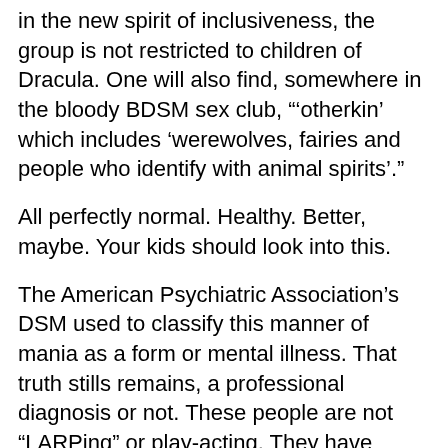in the new spirit of inclusiveness, the group is not restricted to children of Dracula. One will also find, somewhere in the bloody BDSM sex club, "'otherkin' which includes 'werewolves, fairies and people who identify with animal spirits'."
All perfectly normal. Healthy. Better, maybe. Your kids should look into this.
The American Psychiatric Association's DSM used to classify this manner of mania as a form or mental illness. That truth stills remains, a professional diagnosis or not. These people are not "LARPing" or play-acting. They have actually convinced themselves that they are vampires, werewolves, or some other oddity.
In my column a few weeks ago, I noted the decline, the current push for child molesting acceptance, and the coming of cannibalism to the mainstream. I was dead serious. See my added notes under that column. This story is further proof - of both counts. No need to make assumptions; the